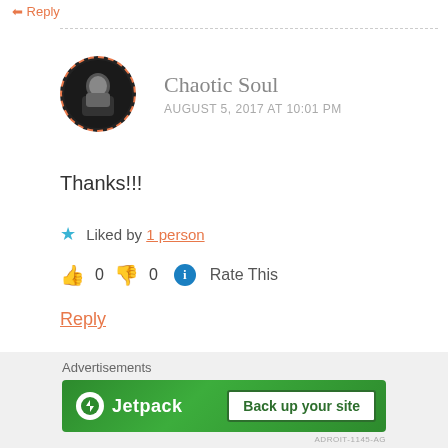Reply
Chaotic Soul
AUGUST 5, 2017 AT 10:01 PM
Thanks!!!
★ Liked by 1 person
👍 0 👎 0 ℹ Rate This
Reply
Advertisements
[Figure (logo): Jetpack banner advertisement with logo on green background and 'Back up your site' button]